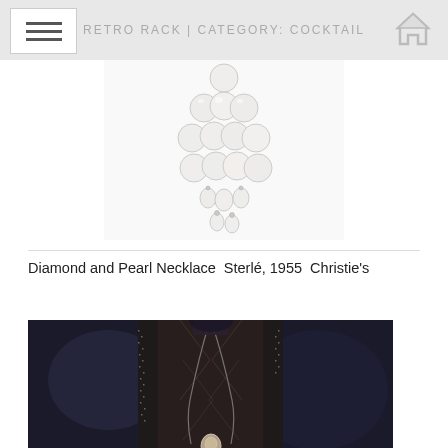RETRO RACK | CATEGORY: COCKTAIL
[Figure (photo): Diamond and Pearl Necklace by Sterlé, 1955, from Christie's — cascading pearl droplets arrangement on white background]
Diamond and Pearl Necklace  Sterlé, 1955  Christie's
[Figure (photo): Fashion model wearing a dark sheer embellished gown with a long tassel necklace featuring a pendant, runway photo with dark background]